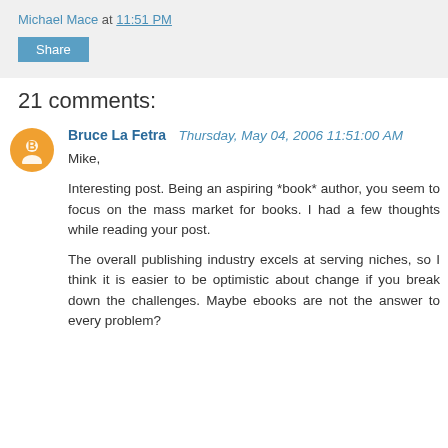Michael Mace at 11:51 PM
Share
21 comments:
Bruce La Fetra  Thursday, May 04, 2006 11:51:00 AM
Mike,

Interesting post. Being an aspiring *book* author, you seem to focus on the mass market for books. I had a few thoughts while reading your post.

The overall publishing industry excels at serving niches, so I think it is easier to be optimistic about change if you break down the challenges. Maybe ebooks are not the answer to every problem?